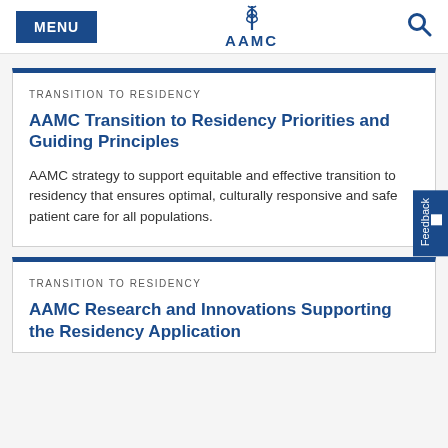MENU | AAMC | Search
TRANSITION TO RESIDENCY
AAMC Transition to Residency Priorities and Guiding Principles
AAMC strategy to support equitable and effective transition to residency that ensures optimal, culturally responsive and safe patient care for all populations.
TRANSITION TO RESIDENCY
AAMC Research and Innovations Supporting the Residency Application